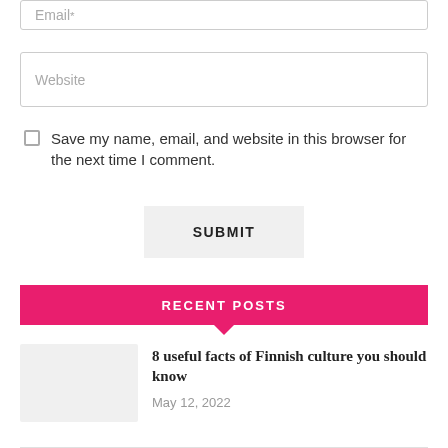Email*
Website
Save my name, email, and website in this browser for the next time I comment.
SUBMIT
RECENT POSTS
[Figure (photo): Thumbnail image placeholder (light gray box) for a blog post]
8 useful facts of Finnish culture you should know
May 12, 2022